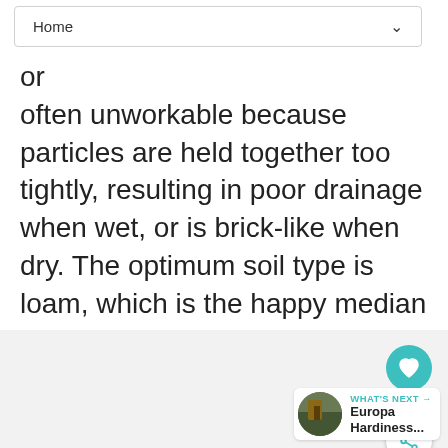Home
org... often unworkable because particles are held together too tightly, resulting in poor drainage when wet, or is brick-like when dry. The optimum soil type is loam, which is the happy median between sand and clay: It is high in organic matter, nutrient-rich, and has the perfect water holding capacity.
[Figure (photo): Light gray placeholder image area]
WHAT'S NEXT → Europa Hardiness...